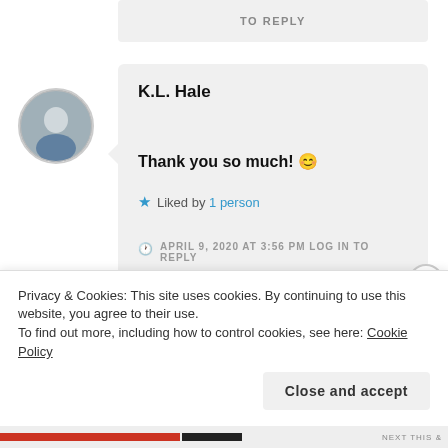TO REPLY
K.L. Hale
Thank you so much! 😊
Liked by 1 person
APRIL 9, 2020 AT 3:56 PM LOG IN TO REPLY
Privacy & Cookies: This site uses cookies. By continuing to use this website, you agree to their use.
To find out more, including how to control cookies, see here: Cookie Policy
Close and accept